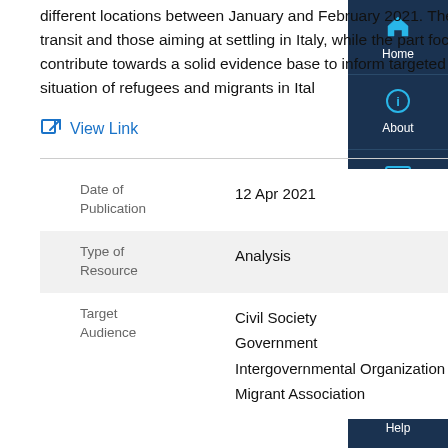different locations between January and February 2021. The first section of the report covers both refugees and migrants in transit and those aiming at settling in Italy, while the part focuses on the specific needs of the latter. This snapshot aims to contribute towards a solid evidence base to inform targeted responses on the ground, as well as advocacy related to the situation of refugees and migrants in Italy.
View Link
| Field | Value |
| --- | --- |
| Date of Publication | 12 Apr 2021 |
| Type of Resource | Analysis |
| Target Audience | Civil Society
Government
Intergovernmental Organization
Migrant Association |